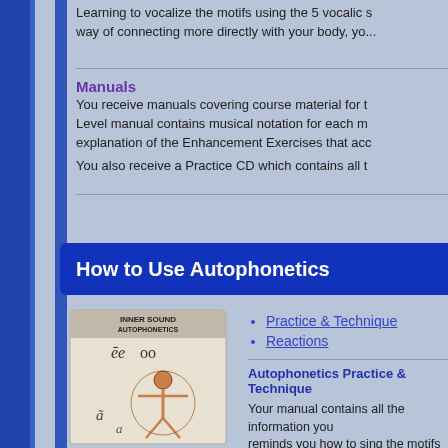Learning to vocalize the motifs using the 5 vocalic s... way of connecting more directly with your body, yo...
Manuals
You receive manuals covering course material for t... Level manual contains musical notation for each m... explanation of the Enhancement Exercises that acc...
You also receive a Practice CD which contains all t...
How to Use Autophonetics
[Figure (illustration): Inner Sound Autophonetics book cover with stylized human figure and vowel symbols ee, oo, a, a with tilde]
Practice & Technique
Reactions
Autophonetics Practice & Technique
Your manual contains all the information you... reminds you how to sing the motifs correctly... Autophonetics after attending one of our wo...
Autophonetics can be practiced on a daily... expression. Choose the motif/s that are mos... you start to notice a difference. Practising th... progressive movement and growing aware...